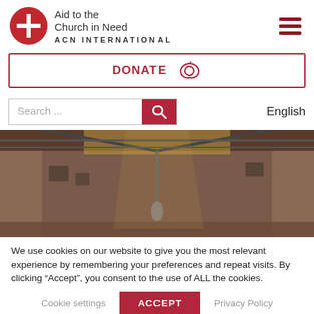[Figure (logo): Aid to the Church in Need ACN International logo with red circle and cross/arrow icon]
[Figure (other): Hamburger menu icon (three dark red horizontal bars)]
DONATE
[Figure (other): Leaf/donate icon next to DONATE text]
Search ...
English
[Figure (photo): Interior of a damaged or destroyed building, showing burned/charred walls and a collapsed or damaged roof structure]
We use cookies on our website to give you the most relevant experience by remembering your preferences and repeat visits. By clicking “Accept”, you consent to the use of ALL the cookies.
Cookie settings
ACCEPT
Privacy Policy